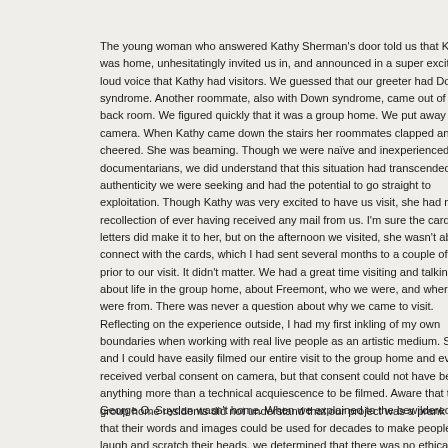The young woman who answered Kathy Sherman's door told us that Kathy was home, unhesitatingly invited us in, and announced in a super excited loud voice that Kathy had visitors. We guessed that our greeter had Down syndrome. Another roommate, also with Down syndrome, came out of the back room. We figured quickly that it was a group home. We put away our camera. When Kathy came down the stairs her roommates clapped and cheered. She was beaming. Though we were naïve and inexperienced as documentarians, we did understand that this situation had transcended the authenticity we were seeking and had the potential to go straight to exploitation. Though Kathy was very excited to have us visit, she had no recollection of ever having received any mail from us. I'm sure the cards and letters did make it to her, but on the afternoon we visited, she wasn't able to connect with the cards, which I had sent several months to a couple of years prior to our visit. It didn't matter. We had a great time visiting and talking about life in the group home, about Freemont, who we were, and where we were from. There was never a question about why we came to visit. Reflecting on the experience outside, I had my first inkling of my own boundaries when working with real live people as an artistic medium. Siri and I could have easily filmed our entire visit to the group home and even received verbal consent on camera, but that consent could not have been anything more than a technical acquiescence to be filmed. Aware that the group home residents did not understand that our project was a prank and that their words and images could be used for decades to make people laugh and scratch their heads, we determined that there was no ethical way to use any footage. More importantly, the moment was so genuinely human that worrying about capturing it would have simply distracted us from living it.
George O. Suydan wasn't home. When we explained to the bewildered wom...